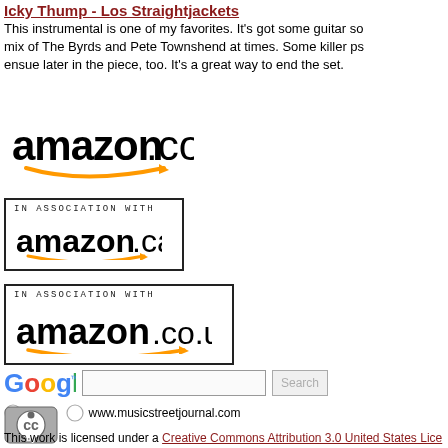Icky Thump - Los Straightjackets
This instrumental is one of my favorites. It's got some guitar sounds that are a mix of The Byrds and Pete Townshend at times. Some killer psych guitar sounds ensue later in the piece, too. It's a great way to end the set.
[Figure (logo): Amazon.com logo with orange swoosh]
[Figure (logo): Amazon.ca logo with 'In Association With' text, bordered box]
[Figure (logo): Amazon.co.uk logo with 'In Association With' text, bordered box]
[Figure (other): Google search box with Web and www.musicstreetjournal.com radio buttons]
[Figure (logo): Creative Commons Attribution license badge]
This work is licensed under a Creative Commons Attribution 3.0 United States Lice